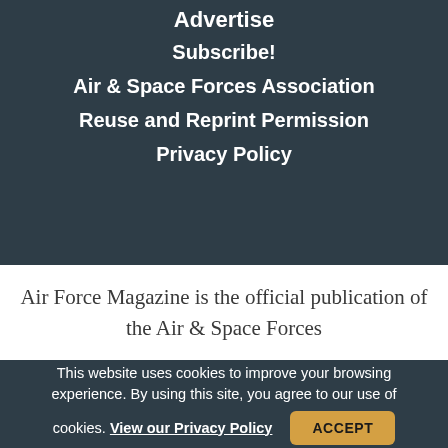Advertise
Subscribe!
Air & Space Forces Association
Reuse and Reprint Permission
Privacy Policy
Air Force Magazine is the official publication of the Air & Space Forces
This website uses cookies to improve your browsing experience. By using this site, you agree to our use of cookies. View our Privacy Policy
ACCEPT